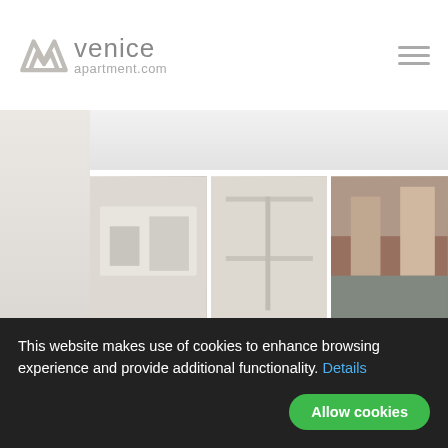[Figure (logo): Venice Apartment.com logo with stylized M/mountain icon in light gray and text 'venice apartment.com']
[Figure (photo): Three apartment/property photos in a horizontal gallery row: interior room, corridor/hallway, exterior building]
See gallery in full screen
[Figure (screenshot): YouTube-style video embed showing VeniceApartment.com channel with tagline 'over 20 years of experience']
This website makes use of cookies to enhance browsing experience and provide additional functionality. Details Allow cookies